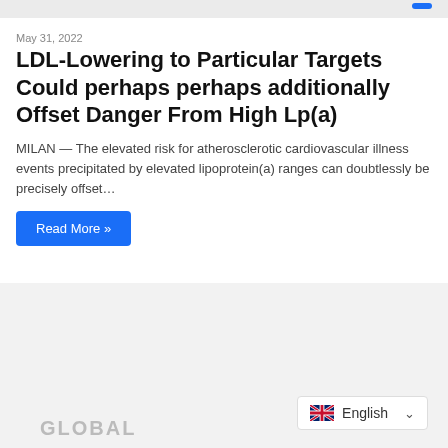May 31, 2022
LDL-Lowering to Particular Targets Could perhaps perhaps additionally Offset Danger From High Lp(a)
MILAN — The elevated risk for atherosclerotic cardiovascular illness events precipitated by elevated lipoprotein(a) ranges can doubtlessly be precisely offset…
Read More »
GLOBAL
English